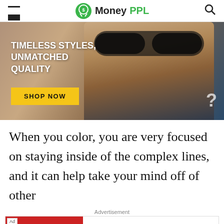MoneyPPL
[Figure (photo): Advertisement banner showing a man wearing dark round sunglasses with bold white text 'TIMELESS STYLES, UNMATCHED QUALITY' and a yellow 'SHOP NOW' button]
When you color, you are very focused on staying inside of the complex lines, and it can help take your mind off of other
Advertisement
[Figure (screenshot): Mobile advertisement for BitLife - Life Simulator with Install button]